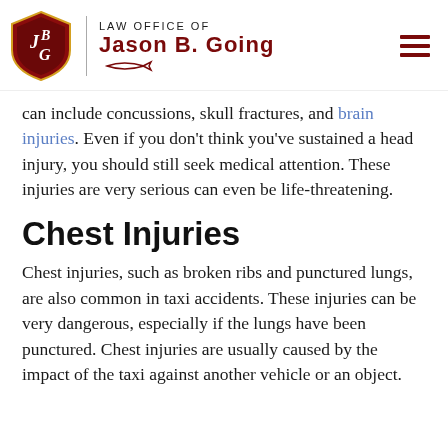Law Office of Jason B. Going
can include concussions, skull fractures, and brain injuries. Even if you don't think you've sustained a head injury, you should still seek medical attention. These injuries are very serious can even be life-threatening.
Chest Injuries
Chest injuries, such as broken ribs and punctured lungs, are also common in taxi accidents. These injuries can be very dangerous, especially if the lungs have been punctured. Chest injuries are usually caused by the impact of the taxi against another vehicle or an object.